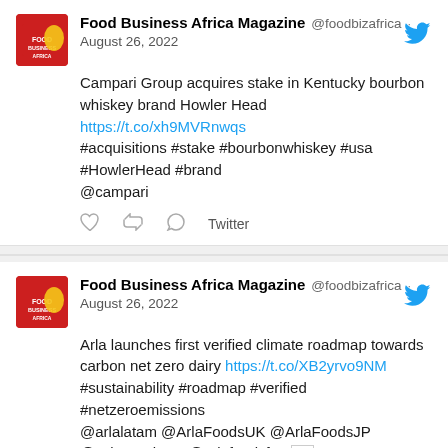Food Business Africa Magazine @foodbizafrica · August 26, 2022
Campari Group acquires stake in Kentucky bourbon whiskey brand Howler Head https://t.co/xh9MVRnwqs #acquisitions #stake #bourbonwhiskey #usa #HowlerHead #brand @campari
Twitter
Food Business Africa Magazine @foodbizafrica · August 26, 2022
Arla launches first verified climate roadmap towards carbon net zero dairy https://t.co/XB2yrvo9NM #sustainability #roadmap #verified #netzeroemissions @arlalatam @ArlaFoodsUK @ArlaFoodsJP @ArlaFoodsUS @arlafoodsf15